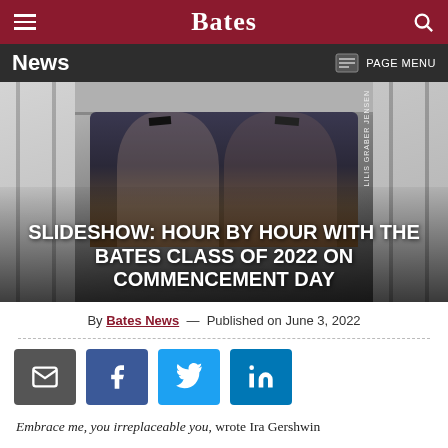Bates
News — PAGE MENU
[Figure (photo): Two graduates in academic regalia celebrating on commencement day in front of pillared building. Text overlay: SLIDESHOW: HOUR BY HOUR WITH THE BATES CLASS OF 2022 ON COMMENCEMENT DAY. Photo credit: LILIS GRABER JENSEN]
By Bates News — Published on June 3, 2022
[Figure (infographic): Share buttons row: email (grey), Facebook (blue), Twitter (light blue), LinkedIn (blue)]
Embrace me, you irreplaceable you, wrote Ira Gershwin